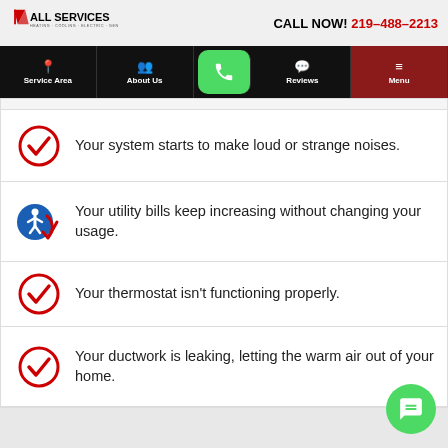All Services Heating · Cooling · Electric · Generators | CALL NOW! 219-488-2213
[Figure (screenshot): Navigation bar with Service Area, About Us, phone button, Reviews, and Menu]
Your system starts to make loud or strange noises.
Your utility bills keep increasing without changing your usage.
Your thermostat isn't functioning properly.
Your ductwork is leaking, letting the warm air out of your home.